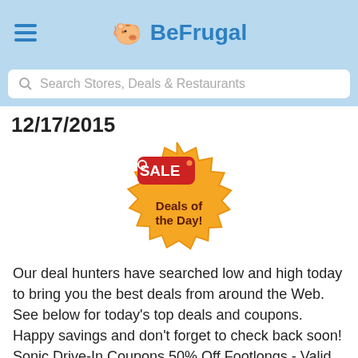BeFrugal
Search Stores, Deals & Restaurants
12/17/2015
[Figure (illustration): Orange starburst badge with a red sale tag reading 'SALE' and bold text 'Deals of the Day!']
Our deal hunters have searched low and high today to bring you the best deals from around the Web. See below for today's top deals and coupons. Happy savings and don't forget to check back soon! Sonic Drive-In Coupons 50% Off Footlongs - Valid Thursday Only Participating locations only. See offer for details. 12/17/2015 Einstein